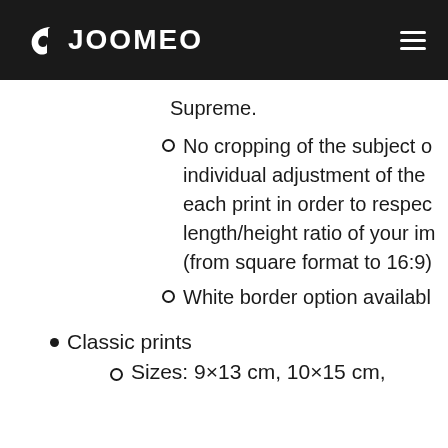JOOMEO
Supreme.
No cropping of the subject of individual adjustment of the each print in order to respect length/height ratio of your im (from square format to 16:9)
White border option availabl
Classic prints
Sizes: 9×13 cm, 10×15 cm,